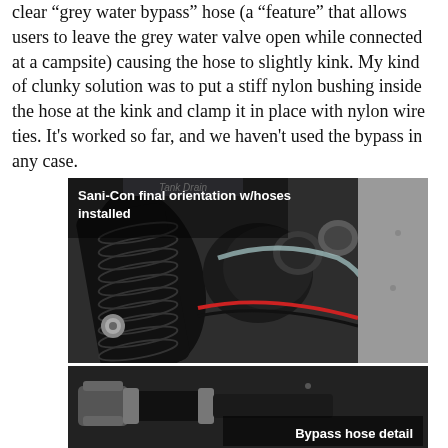clear "grey water bypass" hose (a "feature" that allows users to leave the grey water valve open while connected at a campsite) causing the hose to slightly kink. My kind of clunky solution was to put a stiff nylon bushing inside the hose at the kink and clamp it in place with nylon wire ties. It's worked so far, and we haven't used the bypass in any case.
[Figure (photo): Photo of Sani-Con unit with hoses installed, showing black corrugated hose, clear bypass hose, red and black wiring. A label reads 'Tank Drain' at top. Caption text overlay reads 'Sani-Con final orientation w/hoses installed'.]
[Figure (photo): Close-up detail photo of bypass hose connection area with hose clamps visible. Caption text overlay reads 'Bypass hose detail'.]